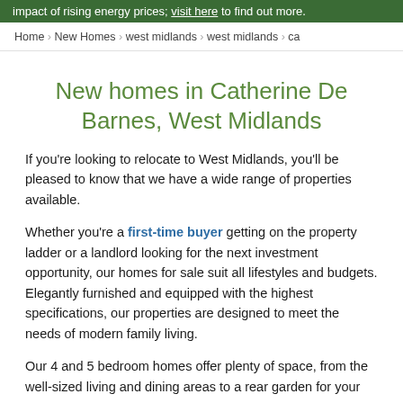impact of rising energy prices; visit here to find out more.
Home > New Homes > west midlands > west midlands > ca
New homes in Catherine De Barnes, West Midlands
If you're looking to relocate to West Midlands, you'll be pleased to know that we have a wide range of properties available.
Whether you're a first-time buyer getting on the property ladder or a landlord looking for the next investment opportunity, our homes for sale suit all lifestyles and budgets. Elegantly furnished and equipped with the highest specifications, our properties are designed to meet the needs of modern family living.
Our 4 and 5 bedroom homes offer plenty of space, from the well-sized living and dining areas to a rear garden for your